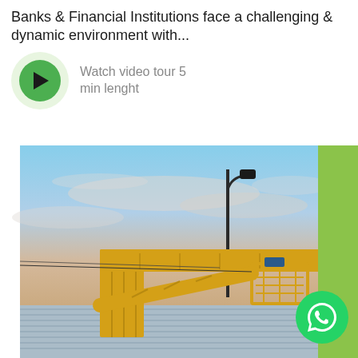Banks & Financial Institutions face a challenging & dynamic environment with...
Watch video tour 5 min lenght
[Figure (photo): Yellow construction boom lift / cherry picker crane against a sky with light clouds, a street lamp visible, and a corrugated metal building facade at the bottom. A green vertical bar appears on the right side. A WhatsApp contact button is overlaid in the bottom right corner.]